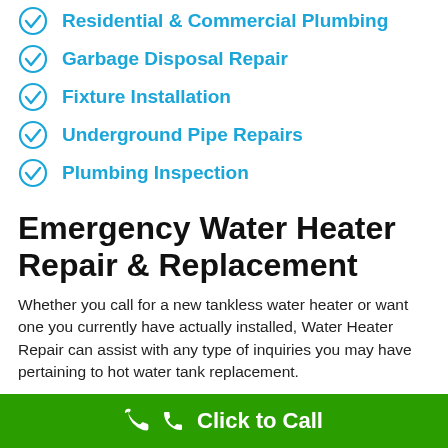Residential & Commercial Plumbing
Garbage Disposal Repair
Fixture Installation
Underground Pipe Repairs
Plumbing Inspection
Emergency Water Heater Repair & Replacement
Whether you call for a new tankless water heater or want one you currently have actually installed, Water Heater Repair can assist with any type of inquiries you may have pertaining to hot water tank replacement.
Our business is located in Panama City Beach as well as
Click to Call